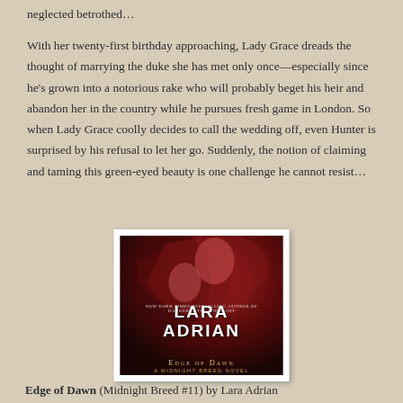neglected betrothed…
With her twenty-first birthday approaching, Lady Grace dreads the thought of marrying the duke she has met only once—especially since he's grown into a notorious rake who will probably beget his heir and abandon her in the country while he pursues fresh game in London. So when Lady Grace coolly decides to call the wedding off, even Hunter is surprised by his refusal to let her go. Suddenly, the notion of claiming and taming this green-eyed beauty is one challenge he cannot resist…
[Figure (photo): Book cover of 'Edge of Dawn' (A Midnight Breed Novel) by Lara Adrian, showing a dark romantic embrace with red tones. Author name in large white bold text, title in gold decorative font.]
Edge of Dawn (Midnight Breed #11) by Lara Adrian